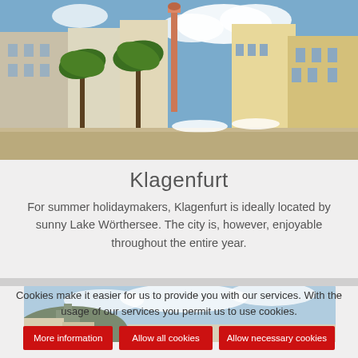[Figure (photo): Photo of Klagenfurt city square with palm trees, a tall column monument, outdoor cafe seating, and colorful historic buildings under a blue sky]
Klagenfurt
For summer holidaymakers, Klagenfurt is ideally located by sunny Lake Wörthersee. The city is, however, enjoyable throughout the entire year.
[Figure (photo): Partial photo of Klagenfurt cityscape with blue sky and buildings on a hill]
Cookies make it easier for us to provide you with our services. With the usage of our services you permit us to use cookies.
More information | Allow all cookies | Allow necessary cookies